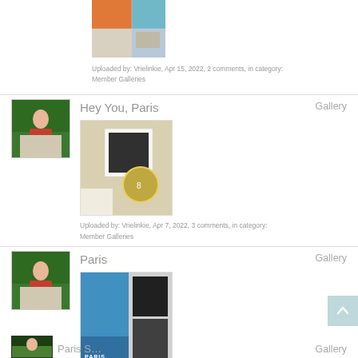[Figure (photo): Thumbnail of a scrapbook layout with orange and blue collage design]
Uploaded by: Vrielinkie, Apr 15, 2022, 2 comments, in category: Member Galleries
Hey You, Paris
Gallery
[Figure (photo): Avatar photo of person sitting at table, green background]
[Figure (photo): Thumbnail of Hey You Paris scrapbook page with beige and dark tones]
Uploaded by: Vrielinkie, Apr 7, 2022, 3 comments, in category: Member Galleries
Paris
Gallery
[Figure (photo): Avatar photo of person sitting at table, green background]
[Figure (photo): Thumbnail of Paris scrapbook page with blue and grey tones, PARIS text]
Uploaded by: Vrielinkie, Apr 4, 2022, 4 comments, in category: Member Galleries